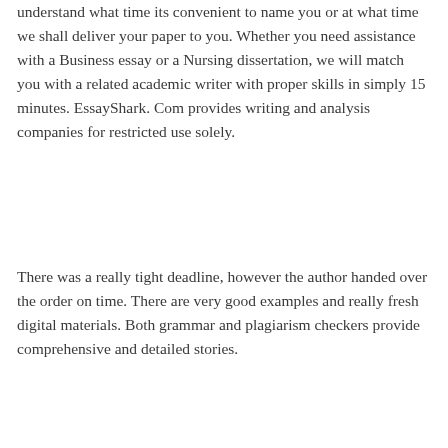understand what time its convenient to name you or at what time we shall deliver your paper to you. Whether you need assistance with a Business essay or a Nursing dissertation, we will match you with a related academic writer with proper skills in simply 15 minutes. EssayShark. Com provides writing and analysis companies for restricted use solely.
There was a really tight deadline, however the author handed over the order on time. There are very good examples and really fresh digital materials. Both grammar and plagiarism checkers provide comprehensive and detailed stories.